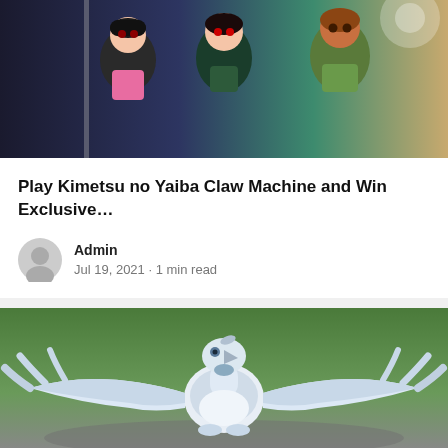[Figure (photo): Photo of Kimetsu no Yaiba (Demon Slayer) anime figurines / chibi figures in a claw machine, three characters visible]
Play Kimetsu no Yaiba Claw Machine and Win Exclusive…
Admin
Jul 19, 2021 · 1 min read
[Figure (photo): Photo of a white winged Pokemon figurine (Lugia or similar) outdoors with blurred green background]
Pokemon Claw Machine Online Game UK is the Best